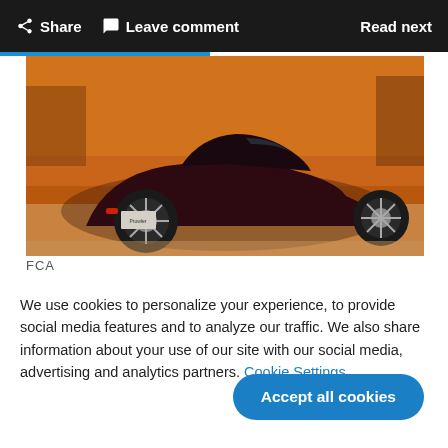Share  Leave comment  Read next
[Figure (photo): Rear three-quarter view of a dark maroon Plymouth Prowler sports car on a road with dry golden grass and trees in the background.]
FCA
We use cookies to personalize your experience, to provide social media features and to analyze our traffic. We also share information about your use of our site with our social media, advertising and analytics partners. Cookie Settings
Accept all cookies